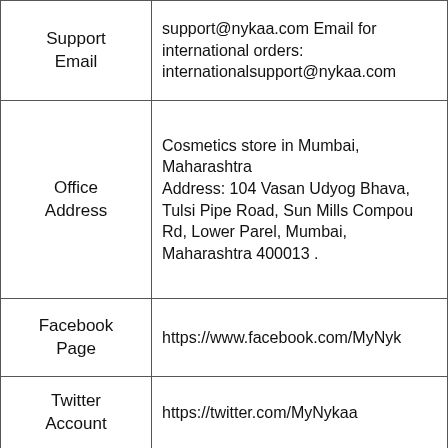| Field | Value |
| --- | --- |
| Support Email | support@nykaa.com Email for international orders: internationalsupport@nykaa.com |
| Office Address | Cosmetics store in Mumbai, Maharashtra
Address: 104 Vasan Udyog Bhava, Tulsi Pipe Road, Sun Mills Compound Rd, Lower Parel, Mumbai, Maharashtra 400013 . |
| Facebook Page | https://www.facebook.com/MyNyk |
| Twitter Account | https://twitter.com/MyNykaa |